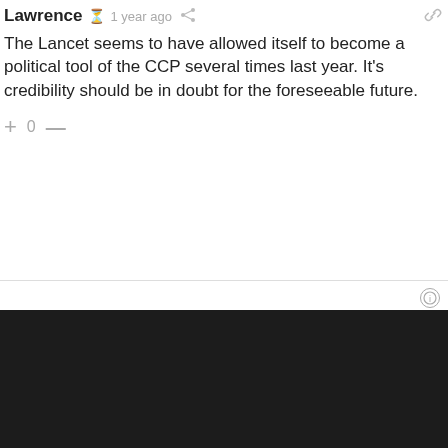Lawrence  1 year ago
The Lancet seems to have allowed itself to become a political tool of the CCP several times last year. It's credibility should be in doubt for the foreseeable future.
+ 0 —